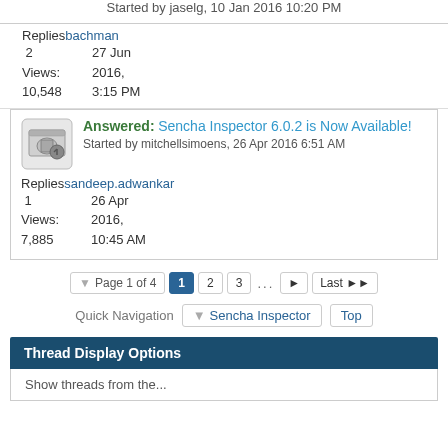Started by jaselg, 10 Jan 2016 10:20 PM
Replies bachman
2   27 Jun
Views: 2016,
10,548 3:15 PM
Answered: Sencha Inspector 6.0.2 is Now Available! Started by mitchellsimoens, 26 Apr 2016 6:51 AM
Replies sandeep.adwankar
1   26 Apr
Views: 2016,
7,885 10:45 AM
Page 1 of 4  1  2  3  ...  ▶  Last ▶▶
Quick Navigation  ▼ Sencha Inspector  Top
Thread Display Options
Show threads from the...